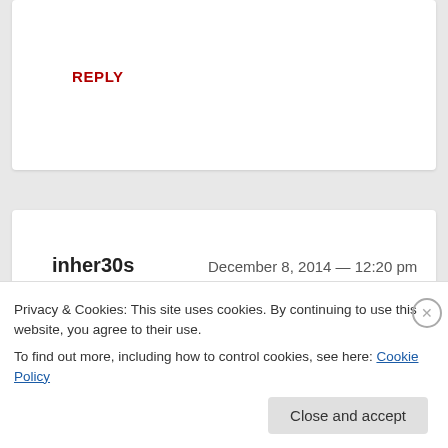REPLY
inher30s  December 8, 2014 — 12:20 pm
Singaporeans go crazy for Christmas lights – but
Privacy & Cookies: This site uses cookies. By continuing to use this website, you agree to their use.
To find out more, including how to control cookies, see here: Cookie Policy
Close and accept